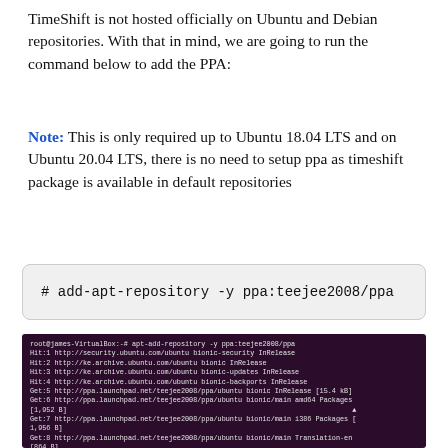TimeShift is not hosted officially on Ubuntu and Debian repositories. With that in mind, we are going to run the command below to add the PPA:
Note: This is only required up to Ubuntu 18.04 LTS and on Ubuntu 20.04 LTS, there is no need to setup ppa as timeshift package is available in default repositories
# add-apt-repository -y ppa:teejee2008/ppa
[Figure (screenshot): Terminal screenshot showing the output of running 'apt-add-repository -y ppa:teejee2008/ppa' command, displaying multiple Hit and Get lines for Ubuntu bionic repositories including security, archive, and launchpad PPA entries with package sizes.]